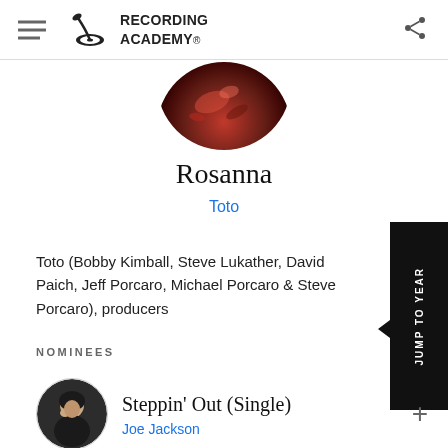Recording Academy
[Figure (photo): Circular cropped album art showing red/dark tones, partially visible at top]
Rosanna
Toto
Toto (Bobby Kimball, Steve Lukather, David Paich, Jeff Porcaro, Michael Porcaro & Steve Porcaro), producers
NOMINEES
[Figure (photo): Circular headshot of a man in dark clothing, hand near chin]
Steppin' Out (Single)
Joe Jackson